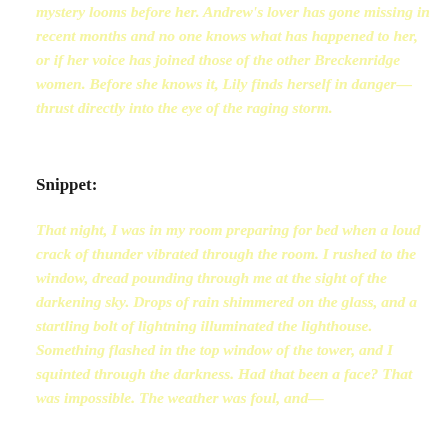mystery looms before her. Andrew's lover has gone missing in recent months and no one knows what has happened to her, or if her voice has joined those of the other Breckenridge women. Before she knows it, Lily finds herself in danger—thrust directly into the eye of the raging storm.
Snippet:
That night, I was in my room preparing for bed when a loud crack of thunder vibrated through the room. I rushed to the window, dread pounding through me at the sight of the darkening sky. Drops of rain shimmered on the glass, and a startling bolt of lightning illuminated the lighthouse. Something flashed in the top window of the tower, and I squinted through the darkness. Had that been a face? That was impossible. The weather was foul, and—